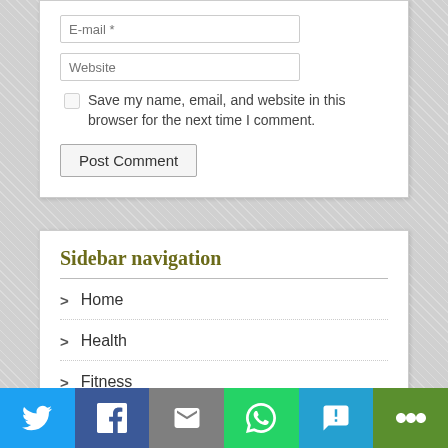E-mail *
Website
Save my name, email, and website in this browser for the next time I comment.
Post Comment
Sidebar navigation
> Home
> Health
> Fitness
> Food Facts
[Figure (infographic): Social sharing bar with Twitter, Facebook, Email, WhatsApp, SMS, and More buttons]